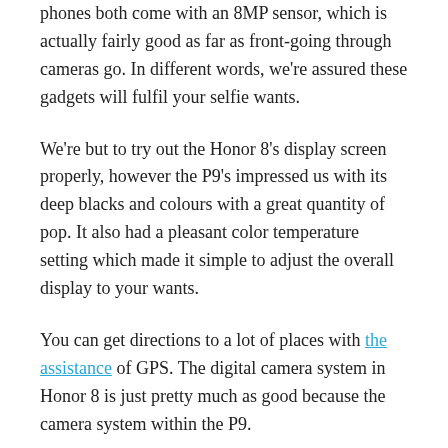phones both come with an 8MP sensor, which is actually fairly good as far as front-going through cameras go. In different words, we're assured these gadgets will fulfil your selfie wants.
We're but to try out the Honor 8's display screen properly, however the P9's impressed us with its deep blacks and colours with a great quantity of pop. It also had a pleasant color temperature setting which made it simple to adjust the overall display to your wants.
You can get directions to a lot of places with the assistance of GPS. The digital camera system in Honor 8 is just pretty much as good because the camera system within the P9.
Leave a Reply